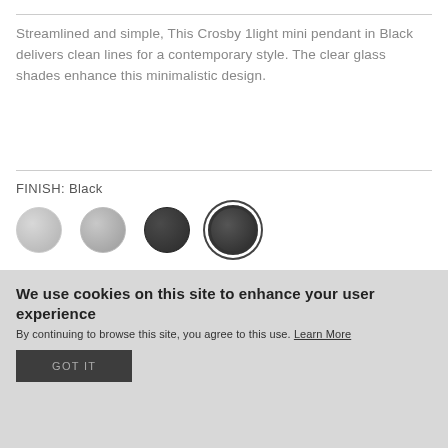Streamlined and simple, This Crosby 1light mini pendant in Black delivers clean lines for a contemporary style. The clear glass shades enhance this minimalistic design.
FINISH: Black
[Figure (illustration): Four circular color swatches: silver/gray, nickel/light gray, dark charcoal/black, and black (selected with ring border). Representing finish color options.]
Where to Buy
We use cookies on this site to enhance your user experience
By continuing to browse this site, you agree to this use. Learn More
GOT IT